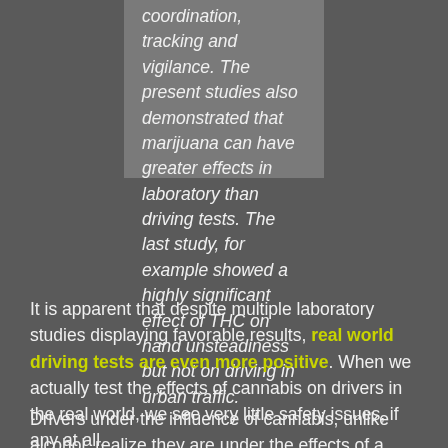coordination, tracking and vigilance. The present studies also demonstrated that marijuana can have greater effects in laboratory than driving tests. The last study, for example showed a highly significant effect of THC on hand unsteadiness but not on driving in urban traffic.
It is apparent that despite multiple laboratory studies displaying favorable results, real world driving tests are even more positive. When we actually test the effects of cannabis on drivers in the real world, we see very little safety issues, if any at all.
Drivers under the influence of cannabis, unlike alcohol, realize they are under the effects of a substance and